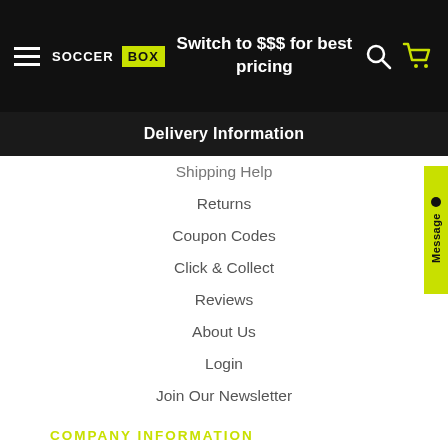Switch to $$$ for best pricing
Delivery Information
Shipping Help
Returns
Coupon Codes
Click & Collect
Reviews
About Us
Login
Join Our Newsletter
COMPANY INFORMATION
10% Off 22/23 Products Use Code 2223FLASH - Royal Mail Delays